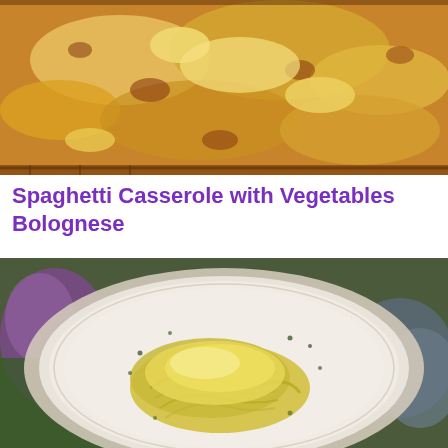[Figure (photo): Close-up photo of a baked spaghetti casserole with melted cheese on top, golden-brown and bubbly, in a baking dish on a rack]
Spaghetti Casserole with Vegetables Bolognese
The perfect spaghetti casserole with vegetables bolognese recipe with a picture and simple step-by-step instructions. More…
[Figure (photo): Photo of a plate of spaghetti casserole with melted cheese on top, garnished with herbs, served on a decorative white plate, with purple flowers and broccoli visible in the background]